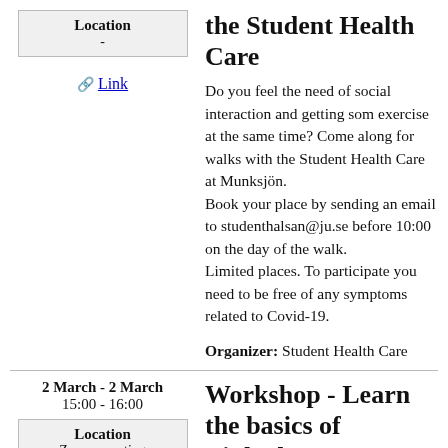| Location |
| --- |
| - |
Link
the Student Health Care
Do you feel the need of social interaction and getting som exercise at the same time? Come along for walks with the Student Health Care at Munksjön. Book your place by sending an email to studenthalsan@ju.se before 10:00 on the day of the walk.
Limited places. To participate you need to be free of any symptoms related to Covid-19.
Organizer: Student Health Care
2 March - 2 March
15:00 - 16:00
| Location |
| --- |
| Zoom- meeting |
Workshop - Learn the basics of LinkedIn - ONLINE